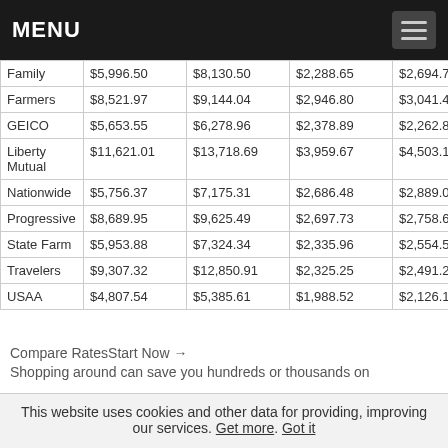MENU
|  | Col1 | Col2 | Col3 | Col4 | Col5 |
| --- | --- | --- | --- | --- | --- |
| Family | $5,996.50 | $8,130.50 | $2,288.65 | $2,694.72 | $2,2… |
| Farmers | $8,521.97 | $9,144.04 | $2,946.80 | $3,041.44 | $2,55… |
| GEICO | $5,653.55 | $6,278.96 | $2,378.89 | $2,262.87 | $2,30… |
| Liberty Mutual | $11,621.01 | $13,718.69 | $3,959.67 | $4,503.13 | $3,80… |
| Nationwide | $5,756.37 | $7,175.31 | $2,686.48 | $2,889.04 | $2,36… |
| Progressive | $8,689.95 | $9,625.49 | $2,697.73 | $2,758.66 | $2,29… |
| State Farm | $5,953.88 | $7,324.34 | $2,335.96 | $2,554.56 | $2,08… |
| Travelers | $9,307.32 | $12,850.91 | $2,325.25 | $2,491.21 | $2,17… |
| USAA | $4,807.54 | $5,385.61 | $1,988.52 | $2,126.14 | $1,55… |
Compare RatesStart Now →
Shopping around can save you hundreds or thousands on
This website uses cookies and other data for providing, improving our services. Get more. Got it